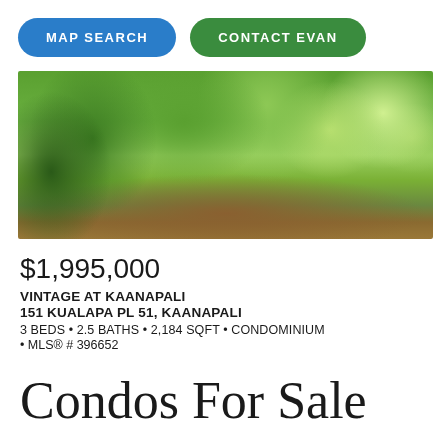MAP SEARCH
CONTACT EVAN
[Figure (photo): Exterior photo of a lush tropical property with dense green foliage including flowering plumeria trees and a red-brown building visible in the background.]
$1,995,000
VINTAGE AT KAANAPALI
151 KUALAPA PL 51, KAANAPALI
3 BEDS • 2.5 BATHS • 2,184 SQFT • CONDOMINIUM • MLS® # 396652
Condos For Sale on